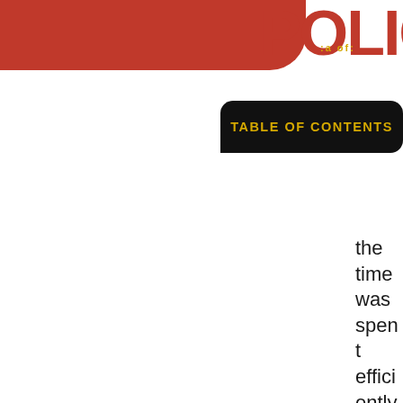[Figure (illustration): Red decorative rounded bar in top-left area of the page]
POLICIES
TABLE OF CONTENTS
the time was spent efficiently. Perfection is not the standard, but
[Figure (illustration): Gray scroll-up button with upward arrow chevron on the right side]